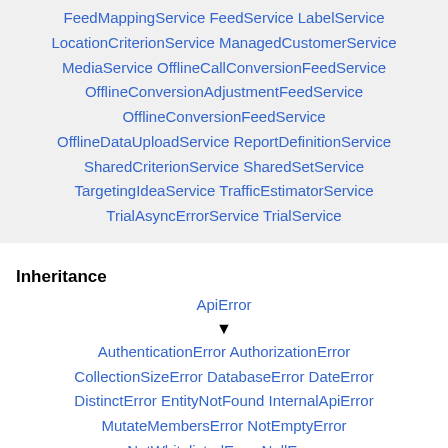FeedMappingService FeedService LabelService LocationCriterionService ManagedCustomerService MediaService OfflineCallConversionFeedService OfflineConversionAdjustmentFeedService OfflineConversionFeedService OfflineDataUploadService ReportDefinitionService SharedCriterionService SharedSetService TargetingIdeaService TrafficEstimatorService TrialAsyncErrorService TrialService
Inheritance
ApiError ▼ AuthenticationError AuthorizationError CollectionSizeError DatabaseError DateError DistinctError EntityNotFound InternalApiError MutateMembersError NotEmptyError NotWhitelistedError NullError OperationAccessDenied OperatorError QueryError